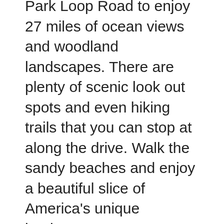Park Loop Road to enjoy 27 miles of ocean views and woodland landscapes. There are plenty of scenic look out spots and even hiking trails that you can stop at along the drive. Walk the sandy beaches and enjoy a beautiful slice of America's unique landscape.
In the town of Bar Harbor, there is a lively downtown area. Park and enjoy miles of adorable village shops, amazing restaurants, art galleries, and even exciting an nightlife. You can take a Maine Foodie Tour, explore the Woodlawn Museum with its stunning gardens and park, or learn a bit about the area in one of the many historical